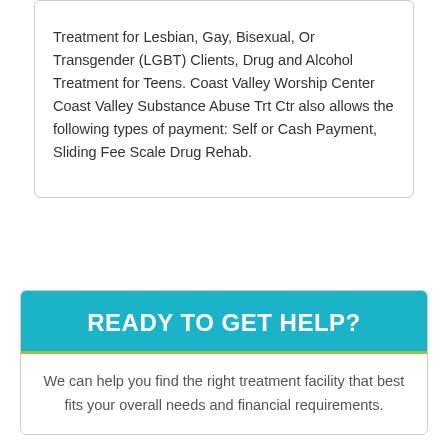Treatment for Lesbian, Gay, Bisexual, Or Transgender (LGBT) Clients, Drug and Alcohol Treatment for Teens. Coast Valley Worship Center Coast Valley Substance Abuse Trt Ctr also allows the following types of payment: Self or Cash Payment, Sliding Fee Scale Drug Rehab.
READY TO GET HELP?
We can help you find the right treatment facility that best fits your overall needs and financial requirements.